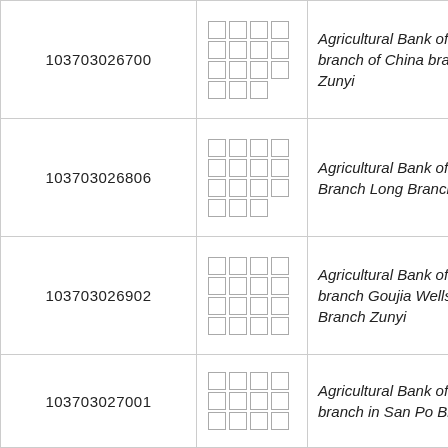| Code | Chinese Name | English Name |
| --- | --- | --- |
| 103703026700 | □□□□□□□□□□□□□□□ | Agricultural Bank of China branch of China branch in Zunyi |
| 103703026806 | □□□□□□□□□□□□□□□ | Agricultural Bank of China Branch Long Branch Zunyi |
| 103703026902 | □□□□□□□□□□□□□□□□ | Agricultural Bank of China branch Goujia Wells Branch Zunyi |
| 103703027001 | □□□□□□□□□□□□ | Agricultural Bank of China branch in San Po Branch |